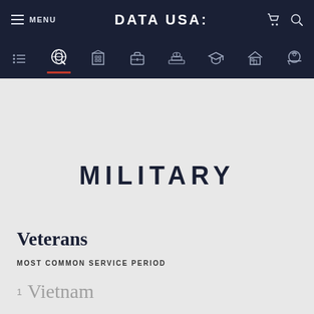MENU | DATA USA: | (cart) (search)
[Figure (screenshot): Navigation icon bar with 8 icons: list, search/globe, building, briefcase, capitol, graduation cap, house, helmet]
MILITARY
Veterans
MOST COMMON SERVICE PERIOD
1. Vietnam